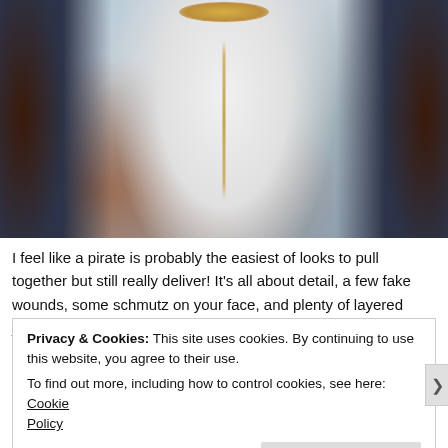[Figure (photo): Close-up photo of a woman wearing a white shirt, dark navy vest, long dark hair, a gold statement necklace at the collar, and a long pendant chain necklace. Warm brick background visible behind her.]
I feel like a pirate is probably the easiest of looks to pull together but still really deliver! It's all about detail, a few fake wounds, some schmutz on your face, and plenty of layered jewelry are what take
Privacy & Cookies: This site uses cookies. By continuing to use this website, you agree to their use.
To find out more, including how to control cookies, see here: Cookie Policy
Close and accept